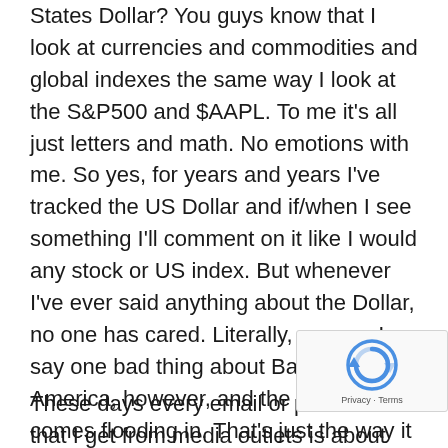States Dollar? You guys know that I look at currencies and commodities and global indexes the same way I look at the S&P500 and $AAPL. To me it's all just letters and math. No emotions with me. So yes, for years and years I've tracked the US Dollar and if/when I see something I'll comment on it like I would any stock or US index. But whenever I've ever said anything about the Dollar, no one has cared. Literally, no one. I say one bad thing about Bank of America, however, and the hate mail comes flooding in. That's just the way it is.
These days every email or phone call that I get from media outlets is about the US...